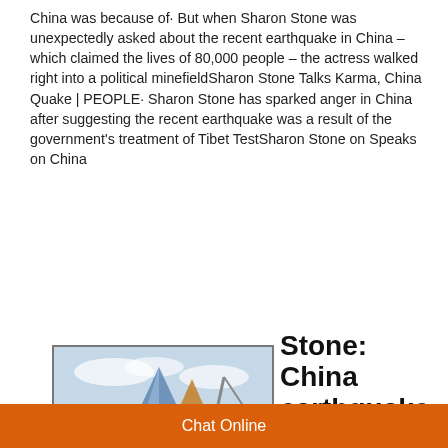China was because of· But when Sharon Stone was unexpectedly asked about the recent earthquake in China – which claimed the lives of 80,000 people – the actress walked right into a political minefieldSharon Stone Talks Karma, China Quake | PEOPLE· Sharon Stone has sparked anger in China after suggesting the recent earthquake was a result of the government's treatment of Tibet TestSharon Stone on Speaks on China
[Figure (photo): Construction site photograph showing pyramid-shaped structures, cranes, trucks, and red dirt mounds under a partly cloudy sky.]
Stone: China earthquake 'was karma for Tibet' |
Chat Online